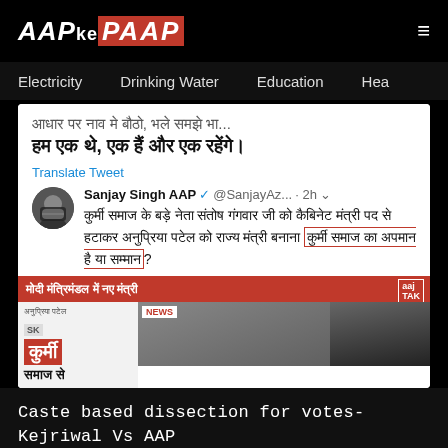AAPkePAAP
Electricity   Drinking Water   Education   Hea
[Figure (screenshot): Screenshot of a tweet by Sanjay Singh AAP (@SanjayAz... · 2h) with Hindi text about Kurmi Samaj and a news channel banner about Modi Mantrimandal with Hindi text]
Caste based dissection for votes- Kejriwal Vs AAP